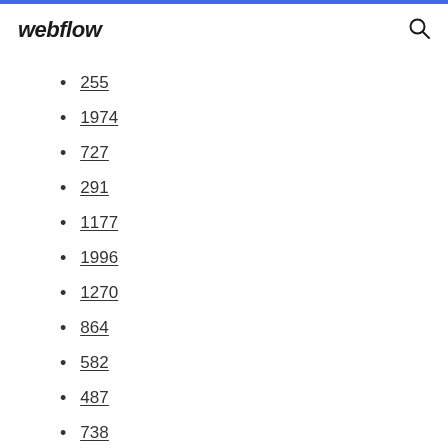webflow
255
1974
727
291
1177
1996
1270
864
582
487
738
32